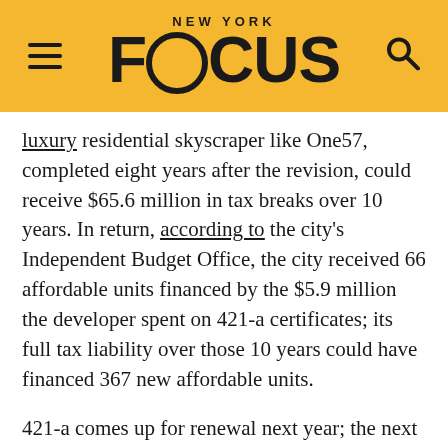NEW YORK FOCUS
luxury residential skyscraper like One57, completed eight years after the revision, could receive $65.6 million in tax breaks over 10 years. In return, according to the city's Independent Budget Office, the city received 66 affordable units financed by the $5.9 million the developer spent on 421-a certificates; its full tax liability over those 10 years could have financed 367 new affordable units.
421-a comes up for renewal next year; the next mayor will have enormous influence in whether it is continued. According to recent estimates, the program costs the city $1.7 billion per year in tax